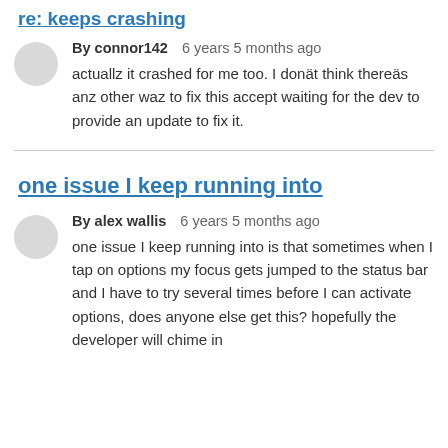re: keeps crashing
By connor142   6 years 5 months ago
actuallz it crashed for me too. I donät think thereäs anz other waz to fix this accept waiting for the dev to provide an update to fix it.
one issue I keep running into
By alex wallis   6 years 5 months ago
one issue I keep running into is that sometimes when I tap on options my focus gets jumped to the status bar and I have to try several times before I can activate options, does anyone else get this? hopefully the developer will chime in